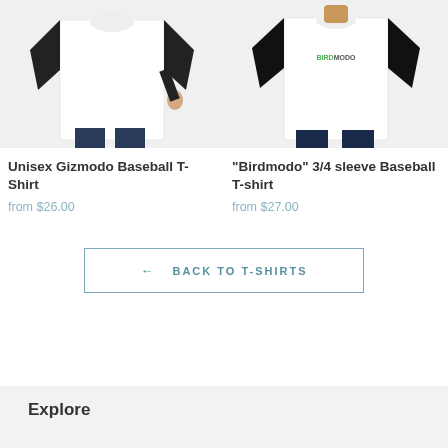[Figure (photo): Two baseball t-shirts shown on models. Left: white body with black 3/4 sleeves, female model. Right: white body with black 3/4 sleeves showing Birdmodo logo, male model.]
Unisex Gizmodo Baseball T-Shirt
from $26.00
"Birdmodo" 3/4 sleeve Baseball T-shirt
from $27.00
← BACK TO T-SHIRTS
Explore